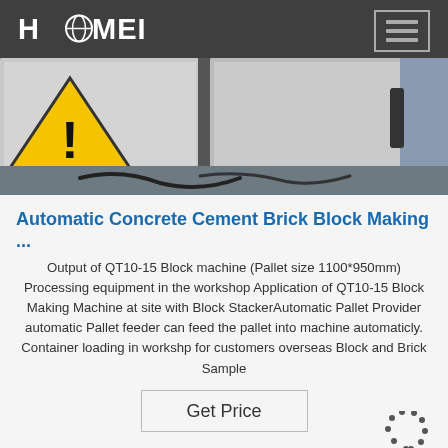[Figure (screenshot): HAOMEI brand navigation bar with white logo on dark background and hamburger menu button on right]
[Figure (photo): Industrial workshop scene showing block making machines with warning triangle sticker, machine panels in grey, cables on floor, partially visible blue equipment on right]
Automatic Concrete Cement Brick Block Making ...
Output of QT10-15 Block machine (Pallet size 1100*950mm) Processing equipment in the workshop Application of QT10-15 Block Making Machine at site with Block StackerAutomatic Pallet Provider automatic Pallet feeder can feed the pallet into machine automaticly. Container loading in workshp for customers overseas Block and Brick Sample
Get Price